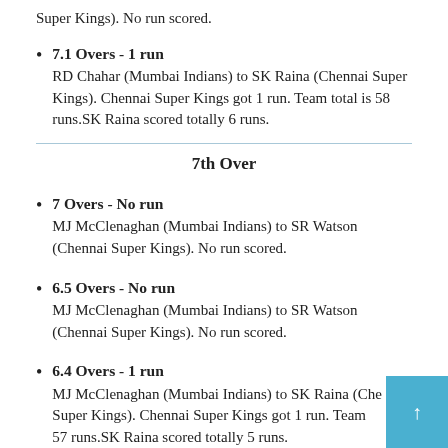Super Kings). No run scored.
7.1 Overs - 1 run
RD Chahar (Mumbai Indians) to SK Raina (Chennai Super Kings). Chennai Super Kings got 1 run. Team total is 58 runs.SK Raina scored totally 6 runs.
7th Over
7 Overs - No run
MJ McClenaghan (Mumbai Indians) to SR Watson (Chennai Super Kings). No run scored.
6.5 Overs - No run
MJ McClenaghan (Mumbai Indians) to SR Watson (Chennai Super Kings). No run scored.
6.4 Overs - 1 run
MJ McClenaghan (Mumbai Indians) to SK Raina (Chennai Super Kings). Chennai Super Kings got 1 run. Team 57 runs.SK Raina scored totally 5 runs.